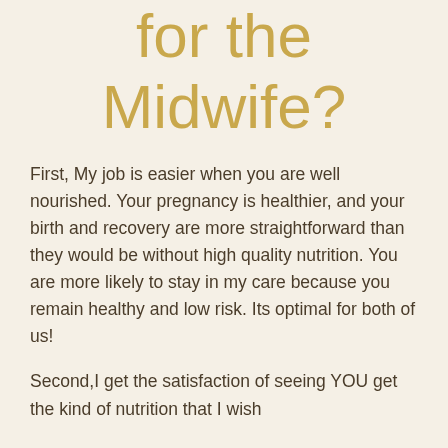for the Midwife?
First, My job is easier when you are well nourished.  Your pregnancy is healthier, and your birth and recovery are more straightforward than they would be without high quality nutrition.  You are more likely to stay in my care because you remain healthy and low risk.  Its optimal for both of us!
Second,I get the satisfaction of seeing YOU get the kind of nutrition that I wish that…